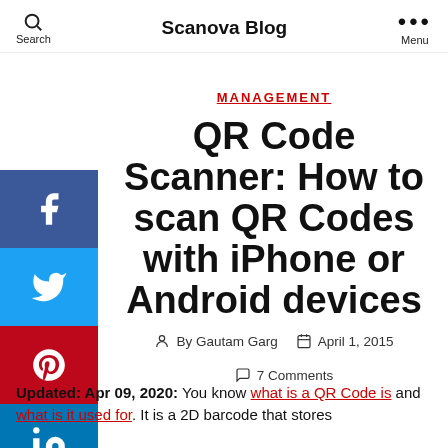Search | Scanova Blog | Menu
MANAGEMENT
QR Code Scanner: How to scan QR Codes with iPhone or Android devices
By Gautam Garg  April 1, 2015  7 Comments
Updated: Apr 09, 2020: You know what is a QR Code is and what is it used for. It is a 2D barcode that stores